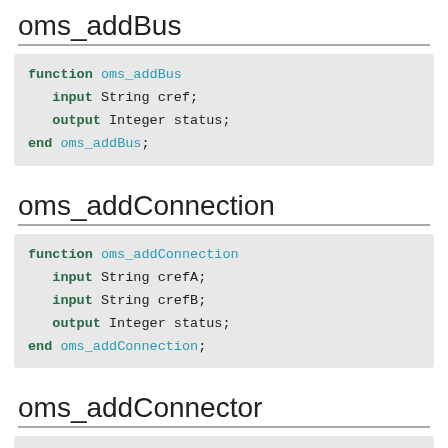oms_addBus
function oms_addBus
  input String cref;
  output Integer status;
end oms_addBus;
oms_addConnection
function oms_addConnection
  input String crefA;
  input String crefB;
  output Integer status;
end oms_addConnection;
oms_addConnector
function oms_addConnector
  input String cref;
  input ...